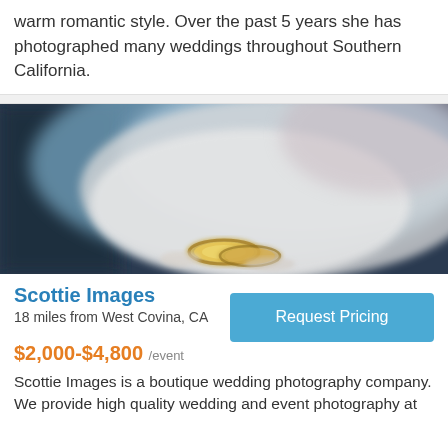warm romantic style. Over the past 5 years she has photographed many weddings throughout Southern California.
[Figure (photo): Blurred close-up photo of wedding rings being held, with soft blue and white bokeh background]
Scottie Images
18 miles from West Covina, CA
Request Pricing
$2,000-$4,800 /event
Scottie Images is a boutique wedding photography company. We provide high quality wedding and event photography at